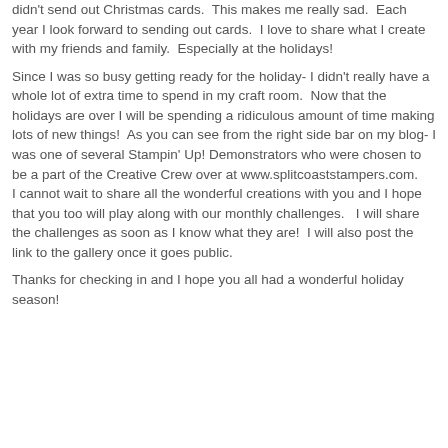didn't send out Christmas cards.  This makes me really sad.  Each year I look forward to sending out cards.  I love to share what I create with my friends and family.  Especially at the holidays!
Since I was so busy getting ready for the holiday- I didn't really have a whole lot of extra time to spend in my craft room.  Now that the holidays are over I will be spending a ridiculous amount of time making lots of new things!  As you can see from the right side bar on my blog- I was one of several Stampin' Up! Demonstrators who were chosen to be a part of the Creative Crew over at www.splitcoaststampers.com.
I cannot wait to share all the wonderful creations with you and I hope that you too will play along with our monthly challenges.  I will share the challenges as soon as I know what they are!  I will also post the link to the gallery once it goes public.
Thanks for checking in and I hope you all had a wonderful holiday season!